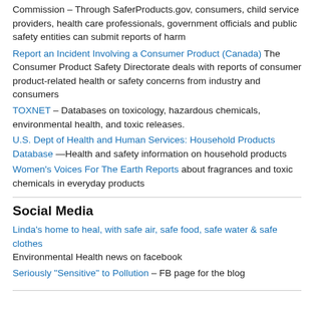Commission – Through SaferProducts.gov, consumers, child service providers, health care professionals, government officials and public safety entities can submit reports of harm
Report an Incident Involving a Consumer Product (Canada) The Consumer Product Safety Directorate deals with reports of consumer product-related health or safety concerns from industry and consumers
TOXNET – Databases on toxicology, hazardous chemicals, environmental health, and toxic releases.
U.S. Dept of Health and Human Services: Household Products Database —Health and safety information on household products
Women's Voices For The Earth Reports about fragrances and toxic chemicals in everyday products
Social Media
Linda's home to heal, with safe air, safe food, safe water & safe clothes Environmental Health news on facebook
Seriously "Sensitive" to Pollution – FB page for the blog